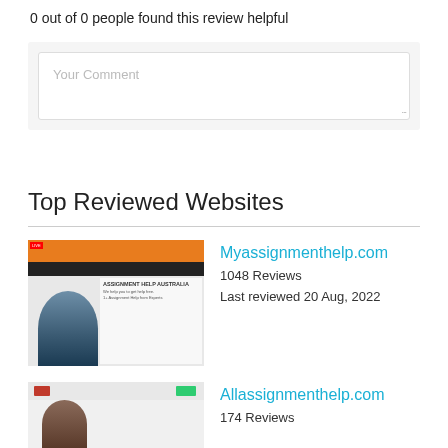0 out of 0 people found this review helpful
[Figure (screenshot): Comment text area input box with placeholder text 'Your Comment']
Top Reviewed Websites
[Figure (screenshot): Screenshot of Myassignmenthelp.com website showing Assignment Help Australia page with student photo]
Myassignmenthelp.com
1048 Reviews
Last reviewed 20 Aug, 2022
[Figure (screenshot): Screenshot of Allassignmenthelp.com website]
Allassignmenthelp.com
174 Reviews